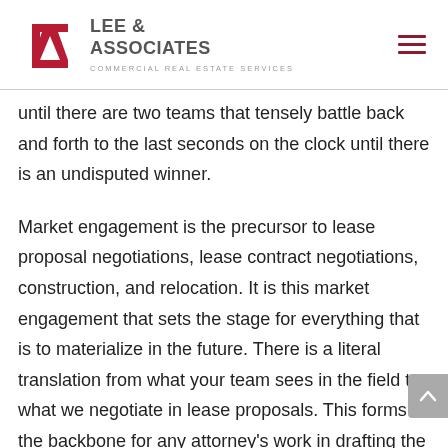Lee & Associates — Commercial Real Estate Services
until there are two teams that tensely battle back and forth to the last seconds on the clock until there is an undisputed winner.
Market engagement is the precursor to lease proposal negotiations, lease contract negotiations, construction, and relocation. It is this market engagement that sets the stage for everything that is to materialize in the future. There is a literal translation from what your team sees in the field to what we negotiate in lease proposals. This forms the backbone for any attorney's work in drafting the final lease document which includes the construction